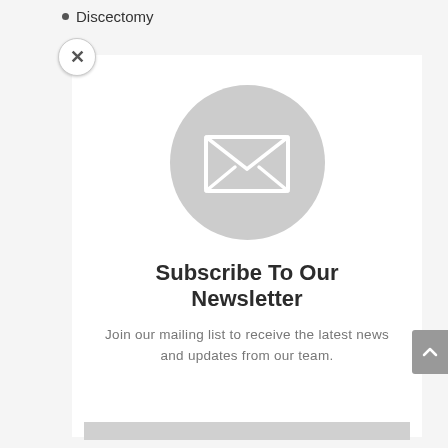• Discectomy
[Figure (illustration): Newsletter subscription modal popup with airmail-style diagonal red and blue stripe border on white background. Contains a gray circle with a white envelope/letter icon, a bold title 'Subscribe To Our Newsletter', descriptive text, and a text input field at the bottom. A close (×) button appears at top-left and a scroll-to-top arrow button at right edge.]
Subscribe To Our Newsletter
Join our mailing list to receive the latest news and updates from our team.